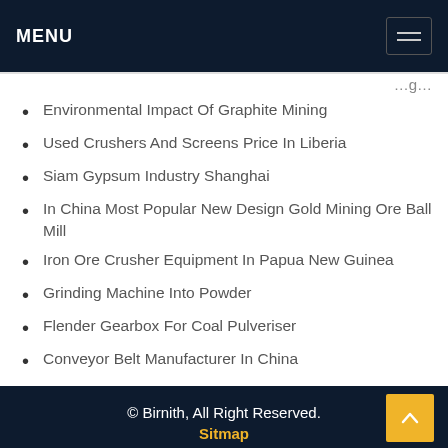MENU
Environmental Impact Of Graphite Mining
Used Crushers And Screens Price In Liberia
Siam Gypsum Industry Shanghai
In China Most Popular New Design Gold Mining Ore Ball Mill
Iron Ore Crusher Equipment In Papua New Guinea
Grinding Machine Into Powder
Flender Gearbox For Coal Pulveriser
Conveyor Belt Manufacturer In China
© Birnith, All Right Reserved. Sitmap